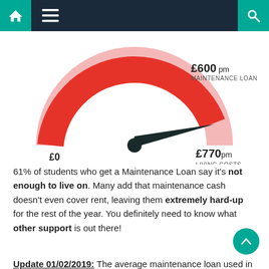Navigation bar with home, menu, and search icons
[Figure (infographic): Gauge/speedometer infographic showing £600 pm Maintenance Loan vs £770 pm Living Costs. The gauge arc is red, with a needle pointing near the right end (towards £770). Left label shows £0, right label shows £770 pm LIVING COSTS, top-right label shows £600 pm MAINTENANCE LOAN.]
61% of students who get a Maintenance Loan say it's not enough to live on. Many add that maintenance cash doesn't even cover rent, leaving them extremely hard-up for the rest of the year. You definitely need to know what other support is out there!
Update 01/02/2019: The average maintenance loan used in